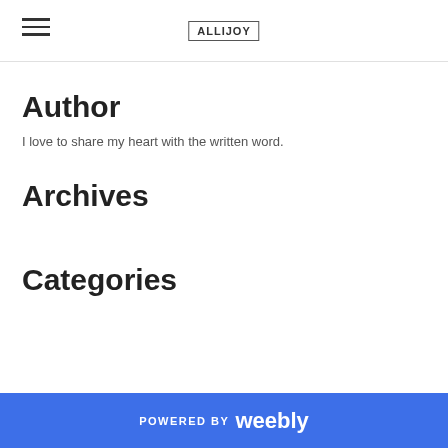ALLIJOY
Author
I love to share my heart with the written word.
Archives
Categories
POWERED BY weebly